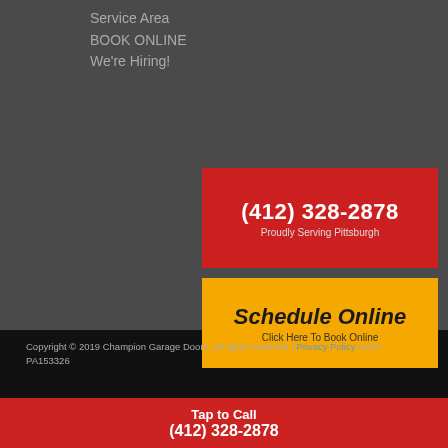Service Area
BOOK ONLINE
We're Hiring!
[Figure (infographic): Red button with phone number (412) 328-2878 and text 'Proudly Serving Pittsburgh']
[Figure (infographic): Yellow button with text 'Schedule Online' and 'Click Here To Book Online']
Copyright © 2019 Champion Garage Doors, all rights reserved | Privacy Policy HIC# PA153326
Tap to Call (412) 328-2878